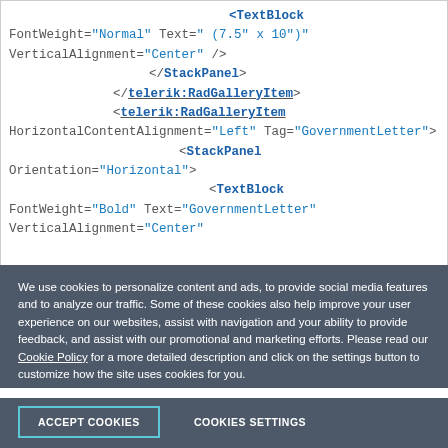< TextBlock FontWeight="Normal" Text=" (7.5" x 10")" VerticalAlignment="Center" /> </StackPanel> </telerik:RadGalleryItem> <telerik:RadGalleryItem HorizontalContentAlignment="Left" Tag="GovernmentLetter"> <StackPanel Orientation="Horizontal"> <TextBlock FontWeight="Bold" Text="GovernmentLetter" VerticalAlignment="Center"
We use cookies to personalize content and ads, to provide social media features and to analyze our traffic. Some of these cookies also help improve your user experience on our websites, assist with navigation and your ability to provide feedback, and assist with our promotional and marketing efforts. Please read our Cookie Policy for a more detailed description and click on the settings button to customize how the site uses cookies for you.
ACCEPT COOKIES   COOKIES SETTINGS